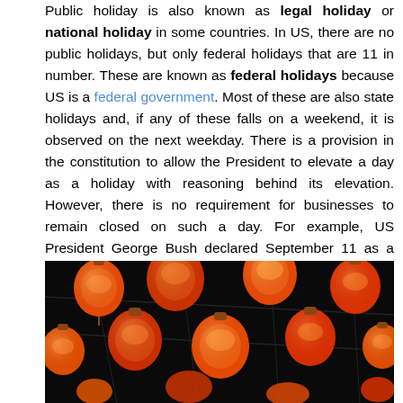Public holiday is also known as legal holiday or national holiday in some countries. In US, there are no public holidays, but only federal holidays that are 11 in number. These are known as federal holidays because US is a federal government. Most of these are also state holidays and, if any of these falls on a weekend, it is observed on the next weekday. There is a provision in the constitution to allow the President to elevate a day as a holiday with reasoning behind its elevation. However, there is no requirement for businesses to remain closed on such a day. For example, US President George Bush declared September 11 as a National Mourning Day in remembrance of those killed in terror attacks. Such days can be considered as national holidays though these are not public holidays.
[Figure (photo): Photo of many orange and red Chinese lanterns hung outdoors against a dark night sky.]